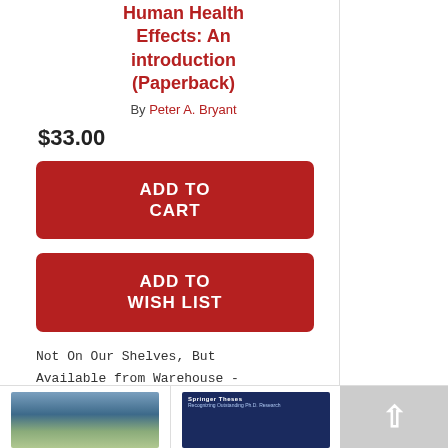Human Health Effects: An introduction (Paperback)
By Peter A. Bryant
$33.00
ADD TO CART
ADD TO WISH LIST
Not On Our Shelves, But Available from Warehouse - Usually Delivers in 3-14 Days
(Please note: This book cannot be returned.)
[Figure (photo): Book cover thumbnail showing mountain/landscape scene]
[Figure (photo): Book cover thumbnail showing Springer Theses series dark blue cover]